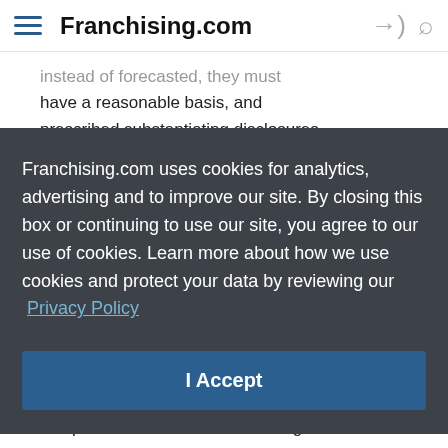Franchising.com
instead of forecasted, they must have a reasonable basis, and prescribed substantiating disclosures must be given to a potential investor in writing at the same time as the
Franchising.com uses cookies for analytics, advertising and to improve our site. By closing this box or continuing to use our site, you agree to our use of cookies. Learn more about how we use cookies and protect your data by reviewing our Privacy Policy
I Accept
compliance with the Rule's earnings